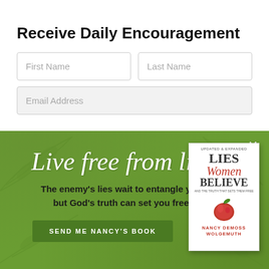Receive Daily Encouragement
First Name
Last Name
Email Address
[Figure (infographic): Green promotional banner with leaf decorations. Contains cursive text 'Live free from lies', bold text 'The enemy's lies wait to entangle you, but God's truth can set you free!', a button labeled 'SEND ME NANCY'S BOOK', a close X button, and a book cover for 'Lies Women Believe' by Nancy DeMoss Wolgemuth.]